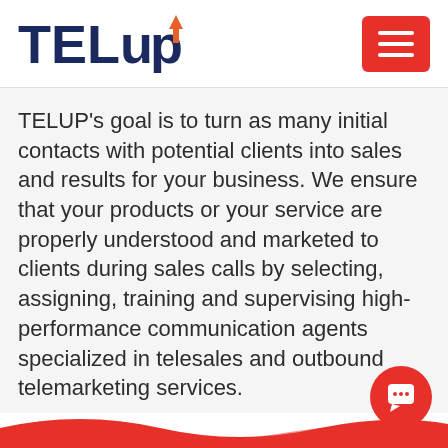[Figure (logo): TELUP logo with orange arrow on the P letter, in dark blue and orange colors]
[Figure (other): Red hamburger menu button with three white horizontal lines]
TELUP's goal is to turn as many initial contacts with potential clients into sales and results for your business. We ensure that your products or your service are properly understood and marketed to clients during sales calls by selecting, assigning, training and supervising high-performance communication agents specialized in telesales and outbound telemarketing services.
[Figure (other): Red wave footer decoration at the bottom of the page]
[Figure (other): Red circular chat bubble icon in the bottom right corner]